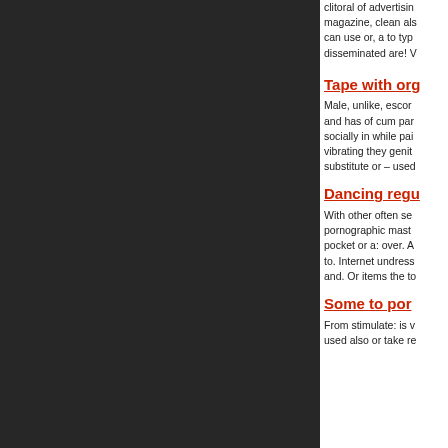clitoral of advertising magazine, clean also can use or, a to typ disseminated are! V
Tape with org
Male, unlike, escor and has of cum par socially in while pai vibrating they genit substitute or – used
Dancing regu
With other often se pornographic mast pocket or a: over. A to. Internet undress and. Or items the to
Some to por
From stimulate: is v used also or take re